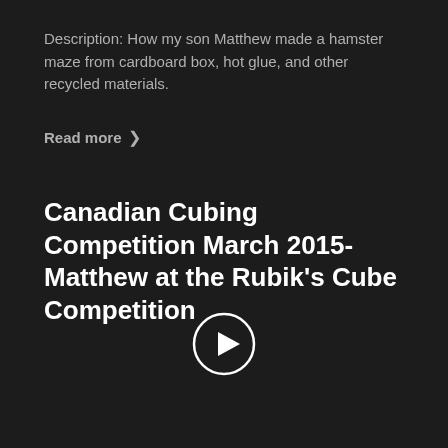Description: How my son Matthew made a hamster maze from cardboard box, hot glue, and other recycled materials.
Read more >
Canadian Cubing Competition March 2015- Matthew at the Rubik's Cube Competition
[Figure (other): Video play button (circle with right-pointing triangle) on dark background]